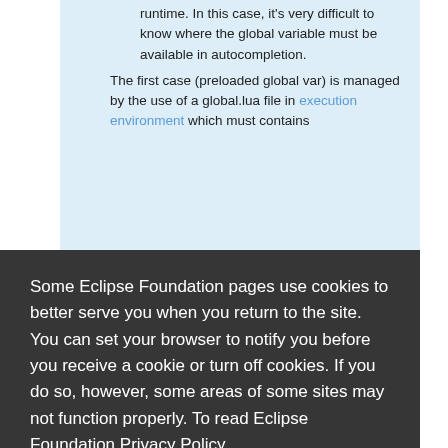runtime. In this case, it's very difficult to know where the global variable must be available in autocompletion. The first case (preloaded global var) is managed by the use of a global.lua file in execution environment which must contains all the global lua variables. (They can also
Some Eclipse Foundation pages use cookies to better serve you when you return to the site. You can set your browser to notify you before you receive a cookie or turn off cookies. If you do so, however, some areas of some sites may not function properly. To read Eclipse Foundation Privacy Policy click here.
Decline
Allow cookies
List